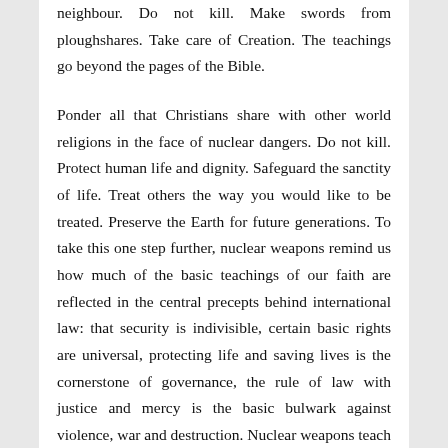neighbour. Do not kill. Make swords from ploughshares. Take care of Creation. The teachings go beyond the pages of the Bible.
Ponder all that Christians share with other world religions in the face of nuclear dangers. Do not kill. Protect human life and dignity. Safeguard the sanctity of life. Treat others the way you would like to be treated. Preserve the Earth for future generations. To take this one step further, nuclear weapons remind us how much of the basic teachings of our faith are reflected in the central precepts behind international law: that security is indivisible, certain basic rights are universal, protecting life and saving lives is the cornerstone of governance, the rule of law with justice and mercy is the basic bulwark against violence, war and destruction. Nuclear weapons teach us that our faith is a compass for awareness, concern and motivation no matter